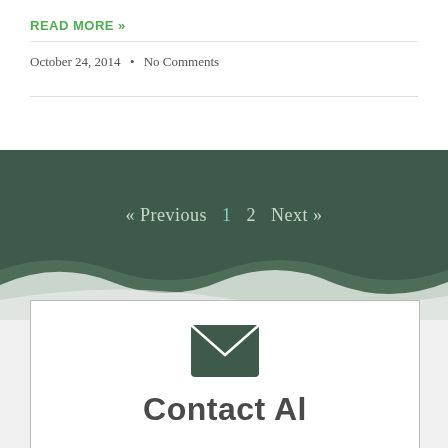READ MORE »
October 24, 2014  •  No Comments
« Previous  1  2  Next »
[Figure (illustration): Decorative wavy divider between dark green background and white area below]
[Figure (illustration): Email envelope icon in dark green, followed by Contact AI title text inside a bordered white box]